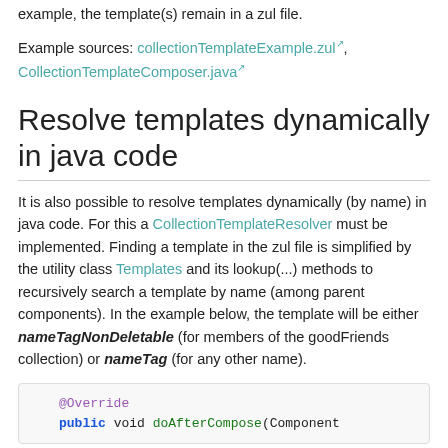example, the template(s) remain in a zul file.
Example sources: collectionTemplateExample.zul, CollectionTemplateComposer.java
Resolve templates dynamically in java code
It is also possible to resolve templates dynamically (by name) in java code. For this a CollectionTemplateResolver must be implemented. Finding a template in the zul file is simplified by the utility class Templates and its lookup(...) methods to recursively search a template by name (among parent components). In the example below, the template will be either nameTagNonDeletable (for members of the goodFriends collection) or nameTag (for any other name).
@Override
public void doAfterCompose(Component